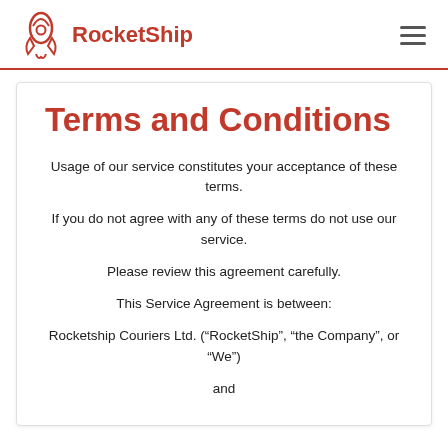RocketShip
Terms and Conditions
Usage of our service constitutes your acceptance of these terms.
If you do not agree with any of these terms do not use our service.
Please review this agreement carefully.
This Service Agreement is between:
Rocketship Couriers Ltd. (“RocketShip”, “the Company”, or “We”)
and